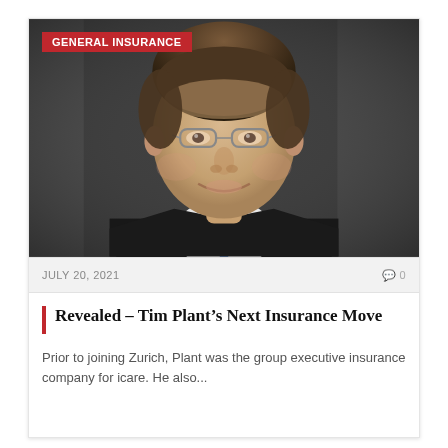[Figure (photo): Professional headshot of Tim Plant, a middle-aged man with glasses, dark hair, wearing a dark suit and blue tie, smiling, with a blurred office background. A red badge in the top-left corner reads 'GENERAL INSURANCE'.]
JULY 20, 2021
0 0
Revealed – Tim Plant's Next Insurance Move
Prior to joining Zurich, Plant was the group executive insurance company for icare. He also...